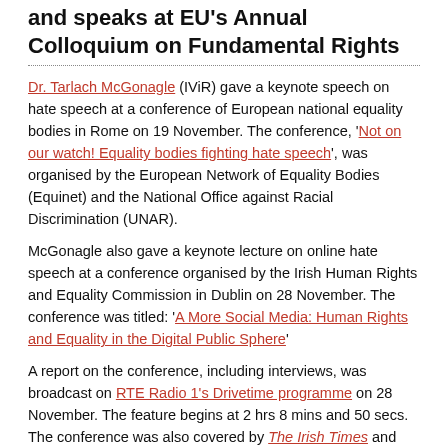and speaks at EU's Annual Colloquium on Fundamental Rights
Dr. Tarlach McGonagle (IViR) gave a keynote speech on hate speech at a conference of European national equality bodies in Rome on 19 November. The conference, 'Not on our watch! Equality bodies fighting hate speech', was organised by the European Network of Equality Bodies (Equinet) and the National Office against Racial Discrimination (UNAR).
McGonagle also gave a keynote lecture on online hate speech at a conference organised by the Irish Human Rights and Equality Commission in Dublin on 28 November. The conference was titled: 'A More Social Media: Human Rights and Equality in the Digital Public Sphere'
A report on the conference, including interviews, was broadcast on RTE Radio 1's Drivetime programme on 28 November. The feature begins at 2 hrs 8 mins and 50 secs. The conference was also covered by The Irish Times and other news media.
Hate speech was also one of the focuses of McGonagle's invited